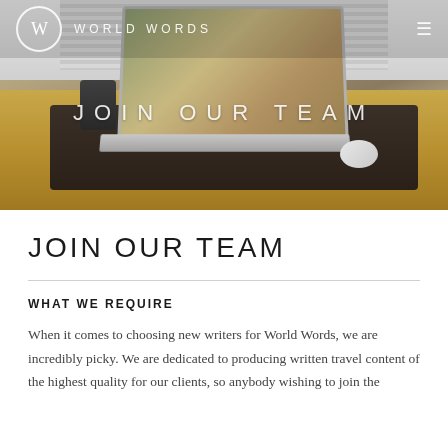W  WORLD WORDS
[Figure (photo): Hero photograph of a laptop on a dark desk mat with a wooden desk, pencil cup, mouse, and window with blinds in the background.]
JOIN OUR TEAM
WHAT WE REQUIRE
When it comes to choosing new writers for World Words, we are incredibly picky. We are dedicated to producing written travel content of the highest quality for our clients, so anybody wishing to join the